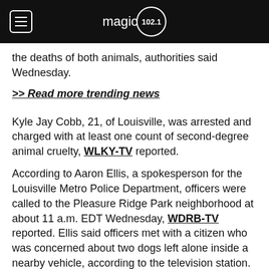magic102.1
the deaths of both animals, authorities said Wednesday.
>> Read more trending news
Kyle Jay Cobb, 21, of Louisville, was arrested and charged with at least one count of second-degree animal cruelty, WLKY-TV reported.
According to Aaron Ellis, a spokesperson for the Louisville Metro Police Department, officers were called to the Pleasure Ridge Park neighborhood at about 11 a.m. EDT Wednesday, WDRB-TV reported. Ellis said officers met with a citizen who was concerned about two dogs left alone inside a nearby vehicle, according to the television station.